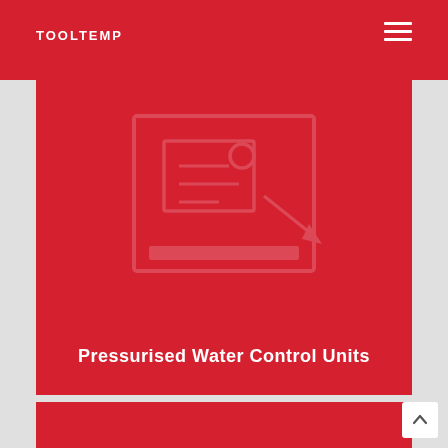TOOLTEMP
[Figure (logo): Tooltemp ghost watermark logo inside red card area]
Pressurised Water Control Units